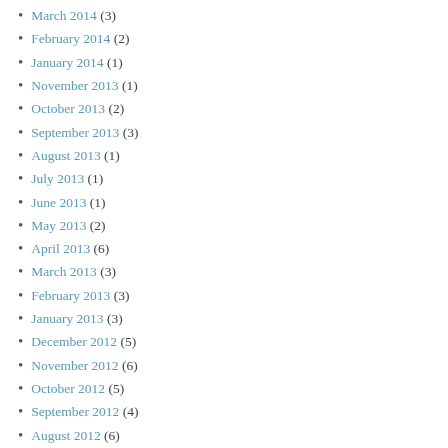March 2014 (3)
February 2014 (2)
January 2014 (1)
November 2013 (1)
October 2013 (2)
September 2013 (3)
August 2013 (1)
July 2013 (1)
June 2013 (1)
May 2013 (2)
April 2013 (6)
March 2013 (3)
February 2013 (3)
January 2013 (3)
December 2012 (5)
November 2012 (6)
October 2012 (5)
September 2012 (4)
August 2012 (6)
July 2012 (6)
June 2012 (4)
May 2012 (5)
April 2012 (4)
March 2012 (5)
February 2012 (6)
January 2012 (3)
December 2011 (2)